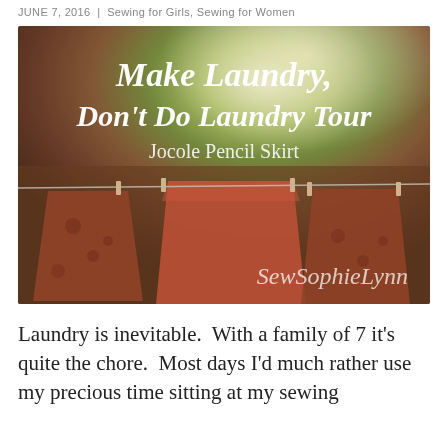JUNE 7, 2016  |  Sewing for Girls, Sewing for Women
[Figure (photo): Photo of fabric skirts hanging on a clothesline outdoors among trees. Overlay text reads: 'Make Laundry, Don't Do Laundry Tour / Jocole Pencil Skirt / SewSophieLynn']
Laundry is inevitable.  With a family of 7 it's quite the chore.  Most days I'd much rather use my precious time sitting at my sewing